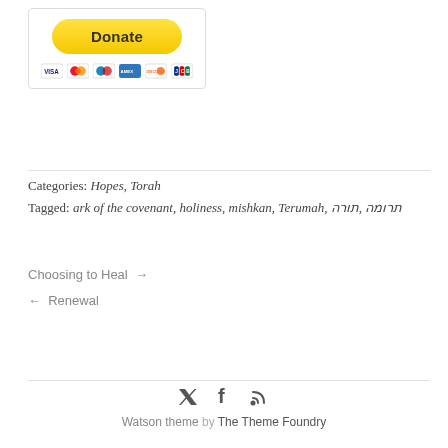[Figure (other): PayPal Donate button with credit card icons (VISA, Mastercard, Maestro, Amex, Discover, JCB) inside a bordered box]
Categories: Hopes, Torah
Tagged: ark of the covenant, holiness, mishkan, Terumah, תרומה, תורה
Choosing to Heal →
← Renewal
[Figure (other): Social media icons: Twitter, Facebook, RSS feed]
Watson theme by The Theme Foundry